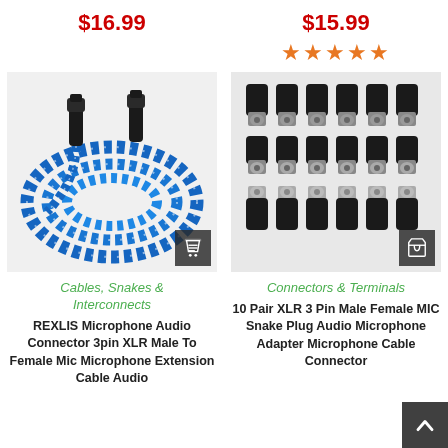$16.99
$15.99
★★★★★
[Figure (photo): Blue braided XLR microphone cable with black connectors on both ends, coiled in a circular shape]
[Figure (photo): Set of 10 pair XLR 3 pin male and female connectors laid out in rows, silver and black finish]
Cables, Snakes & Interconnects
Connectors & Terminals
REXLIS Microphone Audio Connector 3pin XLR Male To Female Mic Microphone Extension Cable Audio
10 Pair XLR 3 Pin Male Female MIC Snake Plug Audio Microphone Adapter Microphone Cable Connector